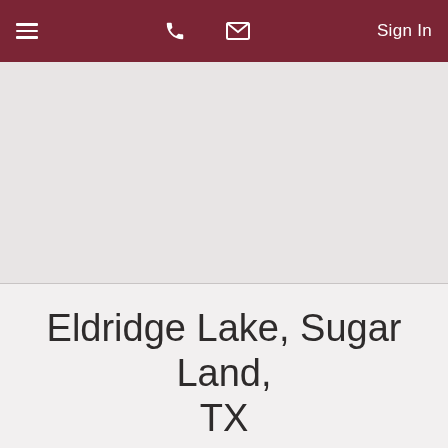Navigation bar with menu, phone, email icons and Sign In
[Figure (map): Map area showing Eldridge Lake, Sugar Land, TX region — gray placeholder]
Eldridge Lake, Sugar Land, TX
Featured Listings